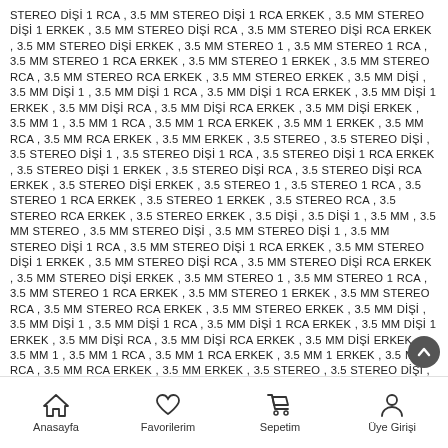STEREO DİŞİ 1 RCA , 3.5 MM STEREO DİŞİ 1 RCA ERKEK , 3.5 MM STEREO DİŞİ 1 ERKEK , 3.5 MM STEREO DİŞİ RCA , 3.5 MM STEREO DİŞİ RCA ERKEK , 3.5 MM STEREO DİŞİ ERKEK , 3.5 MM STEREO 1 , 3.5 MM STEREO 1 RCA , 3.5 MM STEREO 1 RCA ERKEK , 3.5 MM STEREO 1 ERKEK , 3.5 MM STEREO RCA , 3.5 MM STEREO RCA ERKEK , 3.5 MM STEREO ERKEK , 3.5 MM DİŞİ , 3.5 MM DİŞİ 1 , 3.5 MM DİŞİ 1 RCA , 3.5 MM DİŞİ 1 RCA ERKEK , 3.5 MM DİŞİ 1 ERKEK , 3.5 MM DİŞİ RCA , 3.5 MM DİŞİ RCA ERKEK , 3.5 MM DİŞİ ERKEK , 3.5 MM 1 , 3.5 MM 1 RCA , 3.5 MM 1 RCA ERKEK , 3.5 MM 1 ERKEK , 3.5 MM RCA , 3.5 MM RCA ERKEK , 3.5 MM ERKEK , 3.5 STEREO , 3.5 STEREO DİŞİ , 3.5 STEREO DİŞİ 1 , 3.5 STEREO DİŞİ 1 RCA , 3.5 STEREO DİŞİ 1 RCA ERKEK , 3.5 STEREO DİŞİ 1 ERKEK , 3.5 STEREO DİŞİ RCA , 3.5 STEREO DİŞİ RCA ERKEK , 3.5 STEREO DİŞİ ERKEK , 3.5 STEREO 1 , 3.5 STEREO 1 RCA , 3.5 STEREO 1 RCA ERKEK , 3.5 STEREO 1 ERKEK , 3.5 STEREO RCA , 3.5 STEREO RCA ERKEK , 3.5 STEREO ERKEK , 3.5 DİŞİ , 3.5 DİŞİ 1 , 3.5 MM , 3.5 MM STEREO , 3.5 MM STEREO DİŞİ , 3.5 MM STEREO DİŞİ 1 , 3.5 MM STEREO DİŞİ 1 RCA , 3.5 MM STEREO DİŞİ 1 RCA ERKEK , 3.5 MM STEREO DİŞİ 1 ERKEK , 3.5 MM STEREO DİŞİ RCA , 3.5 MM STEREO DİŞİ RCA ERKEK , 3.5 MM STEREO DİŞİ ERKEK , 3.5 MM STEREO 1 , 3.5 MM STEREO 1 RCA , 3.5 MM STEREO 1 RCA ERKEK , 3.5 MM STEREO 1 ERKEK , 3.5 MM STEREO RCA , 3.5 MM STEREO RCA ERKEK , 3.5 MM STEREO ERKEK , 3.5 MM DİŞİ , 3.5 MM DİŞİ 1 , 3.5 MM DİŞİ 1 RCA , 3.5 MM DİŞİ 1 RCA ERKEK , 3.5 MM DİŞİ 1 ERKEK , 3.5 MM DİŞİ RCA , 3.5 MM DİŞİ RCA ERKEK , 3.5 MM DİŞİ ERKEK , 3.5 MM 1 , 3.5 MM 1 RCA , 3.5 MM 1 RCA ERKEK , 3.5 MM 1 ERKEK , 3.5 MM RCA , 3.5 MM RCA ERKEK , 3.5 MM ERKEK , 3.5 STEREO , 3.5 STEREO DİŞİ , 3.5 STEREO DİŞİ 1 , 3.5 STEREO DİŞİ 1 RCA , 3.5 STEREO DİŞİ 1 RCA ERKEK , 3.5 STEREO DİŞİ 1
Anasayfa   Favorilerim   Sepetim   Üye Girişi